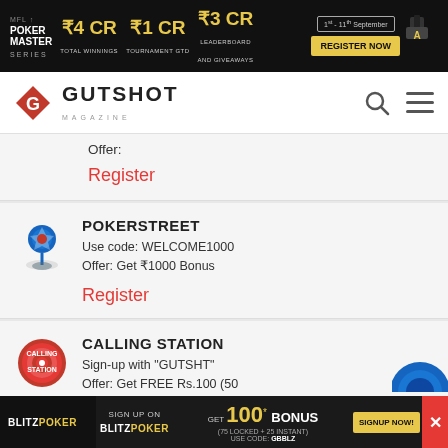[Figure (screenshot): Top banner ad: Poker Master Series - ₹4 CR Total Winnings, ₹1 CR Tournament GTD, ₹3 CR Leaderboard and Giveaways. Register Now. 1st - 11th September.]
[Figure (logo): Gutshot Magazine logo with red diamond G icon]
Offer:
Register
POKERSTREET
Use code: WELCOME1000
Offer: Get ₹1000 Bonus
Register
CALLING STATION
Sign-up with "GUTSHT"
Offer: Get FREE Rs.100 (50 Instant & 50 Locked)
Register
[Figure (screenshot): Bottom banner: BlitzPoker - Sign up on BlitzPoker, Get 100* Bonus (75 Locked + 25 Instant), Use Code: GBBLZ. Signup Now! Red X close button.]